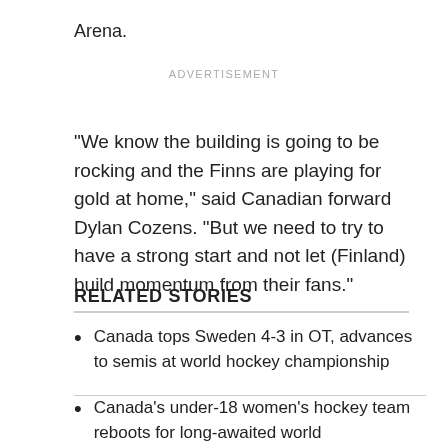Arena.
ADVERTISEMENT
"We know the building is going to be rocking and the Finns are playing for gold at home," said Canadian forward Dylan Cozens. "But we need to try to have a strong start and not let (Finland) build momentum from their fans."
RELATED STORIES
Canada tops Sweden 4-3 in OT, advances to semis at world hockey championship
Canada's under-18 women's hockey team reboots for long-awaited world championship